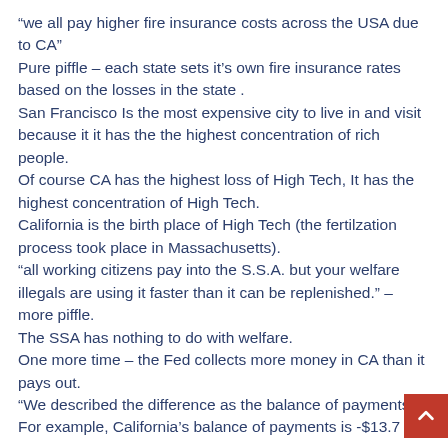“we all pay higher fire insurance costs across the USA due to CA”
Pure piffle – each state sets it’s own fire insurance rates based on the losses in the state .
San Francisco Is the most expensive city to live in and visit because it it has the the highest concentration of rich people.
Of course CA has the highest loss of High Tech, It has the highest concentration of High Tech.
California is the birth place of High Tech (the fertilzation process took place in Massachusetts).
“all working citizens pay into the S.S.A. but your welfare illegals are using it faster than it can be replenished.” – more piffle.
The SSA has nothing to do with welfare.
One more time – the Fed collects more money in CA than it pays out.
“We described the difference as the balance of payments. For example, California’s balance of payments is -$13.7